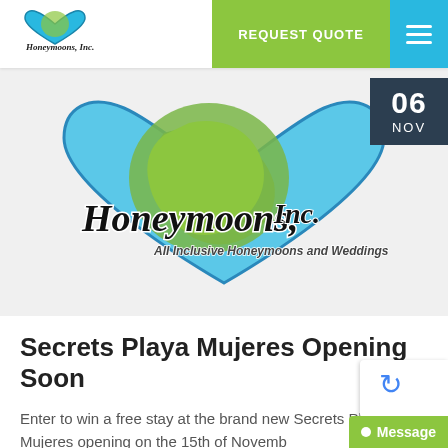[Figure (logo): Honeymoons Inc. header logo - small version in navigation bar]
REQUEST QUOTE
[Figure (logo): Honeymoons Inc. large logo with heart shape containing globe, script text reading 'Honeymoons, Inc. All Inclusive Honeymoons and Weddings']
06 NOV
Secrets Playa Mujeres Opening Soon
Enter to win a free stay at the brand new Secrets Playa Mujeres opening on the 15th of Novemb...